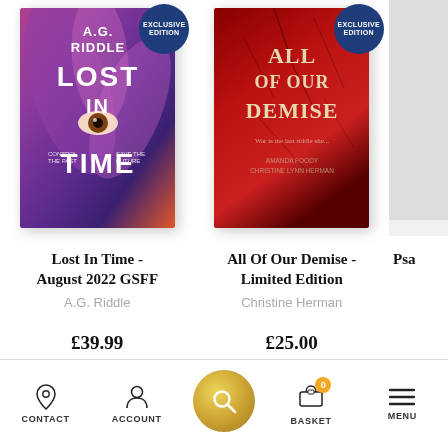[Figure (photo): Book cover for 'Lost In Time' by A.G. Riddle with purple/pink fern pattern background and 'Exclusive Edition' badge]
[Figure (photo): Book cover for 'All Of Our Demise - Limited Edition' by Christine Herman with red cracked texture background and 'Exclusive Edition' badge]
Lost In Time - August 2022 GSFF
A.G. Riddle
£39.99
All Of Our Demise - Limited Edition
Christine Herman
£25.00
Psa
CONTACT  ACCOUNT  [SEARCH]  BASKET  MENU